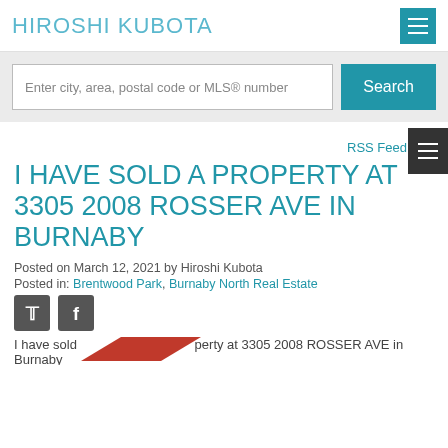HIROSHI KUBOTA
Enter city, area, postal code or MLS® number
RSS Feed
I HAVE SOLD A PROPERTY AT 3305 2008 ROSSER AVE IN BURNABY
Posted on March 12, 2021 by Hiroshi Kubota
Posted in: Brentwood Park, Burnaby North Real Estate
I have sold a property at 3305 2008 ROSSER AVE in Burnaby